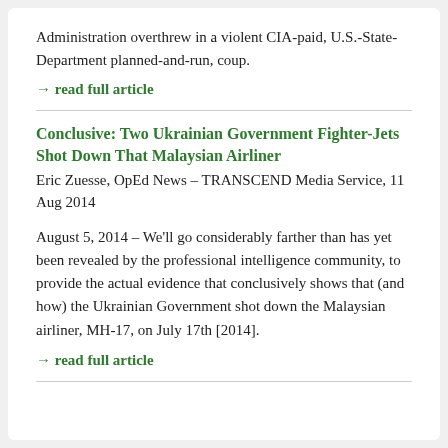Administration overthrew in a violent CIA-paid, U.S.-State-Department planned-and-run, coup.
→ read full article
Conclusive: Two Ukrainian Government Fighter-Jets Shot Down That Malaysian Airliner
Eric Zuesse, OpEd News – TRANSCEND Media Service, 11 Aug 2014
August 5, 2014 – We'll go considerably farther than has yet been revealed by the professional intelligence community, to provide the actual evidence that conclusively shows that (and how) the Ukrainian Government shot down the Malaysian airliner, MH-17, on July 17th [2014].
→ read full article